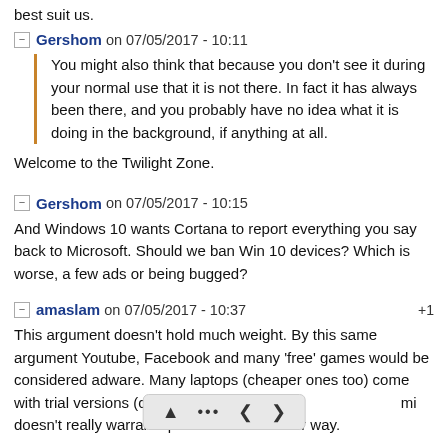best suit us.
Gershom on 07/05/2017 - 10:11
You might also think that because you don't see it during your normal use that it is not there. In fact it has always been there, and you probably have no idea what it is doing in the background, if anything at all.
Welcome to the Twilight Zone.
Gershom on 07/05/2017 - 10:15
And Windows 10 wants Cortana to report everything you say back to Microsoft. Should we ban Win 10 devices? Which is worse, a few ads or being bugged?
amaslam on 07/05/2017 - 10:37 +1
This argument doesn't hold much weight. By this same argument Youtube, Facebook and many 'free' games would be considered adware. Many laptops (cheaper ones too) come with trial versions (could be considered s... mi doesn't really warrant special mention either way.